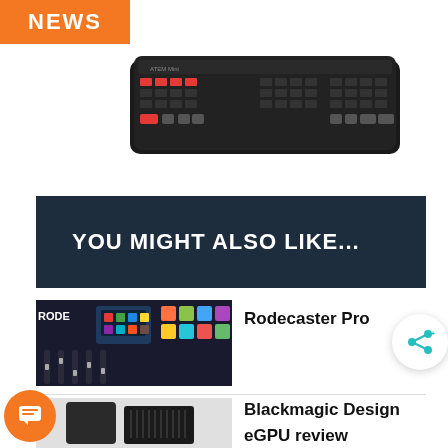[Figure (logo): Orange NEWS banner logo in top-left corner]
[Figure (photo): ATEM Mini video switcher/mixer device, black hardware with buttons and controls]
YOU MIGHT ALSO LIKE...
[Figure (photo): Rodecaster Pro audio mixing console with colorful pads and faders]
Rodecaster Pro
[Figure (photo): Blackmagic Design eGPU device, dark enclosure]
Blackmagic Design eGPU review